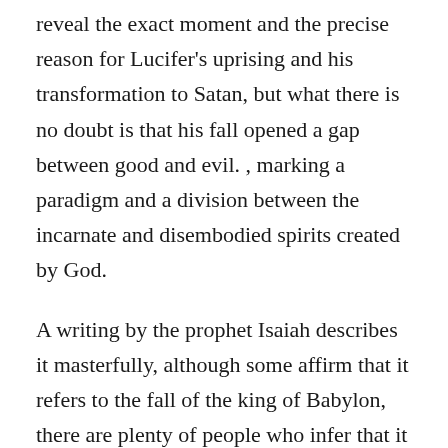reveal the exact moment and the precise reason for Lucifer's uprising and his transformation to Satan, but what there is no doubt is that his fall opened a gap between good and evil. , marking a paradigm and a division between the incarnate and disembodied spirits created by God.
A writing by the prophet Isaiah describes it masterfully, although some affirm that it refers to the fall of the king of Babylon, there are plenty of people who infer that it is a description of what happened with Lucifer and says thus:
«How you fell from heaven, oh Lucifer, son of the morning! You were cut down to the ground, you who